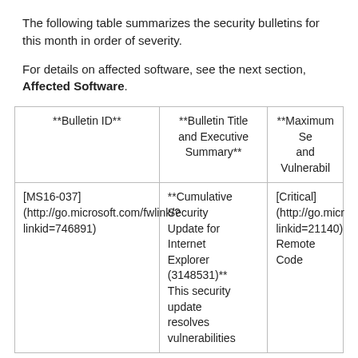The following table summarizes the security bulletins for this month in order of severity.
For details on affected software, see the next section, Affected Software.
| **Bulletin ID** | **Bulletin Title and Executive Summary** | **Maximum Severity Rating and Vulnerability Impact** |
| --- | --- | --- |
| [MS16-037](http://go.microsoft.com/fwlink/?linkid=746891) | **Cumulative Security Update for Internet Explorer (3148531)** This security update resolves vulnerabilities | [Critical](http://go.micr linkid=21140) Remote Code |